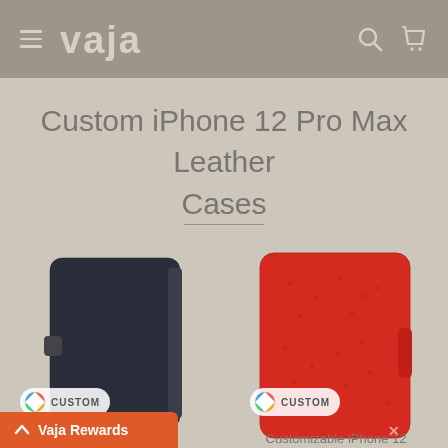[Figure (screenshot): Vaja website navigation bar with hamburger menu, Vaja logo, search icon and cart icon on a taupe/khaki background]
Custom iPhone 12 Pro Max Leather Cases
[Figure (photo): Two custom leather iPhone 12 Pro Max cases side by side — a dark navy/black folio-style wallet case on the left and a red folio case on the right, each with a 'CUSTOM' badge in the lower left corner featuring a rainbow-colored circle icon and a Vaja logo in the lower right corner]
[Figure (photo): Vaja Rewards button bar at the bottom left, orange background with white text and upward chevron arrow]
la Silver
Customizable iPhone 12